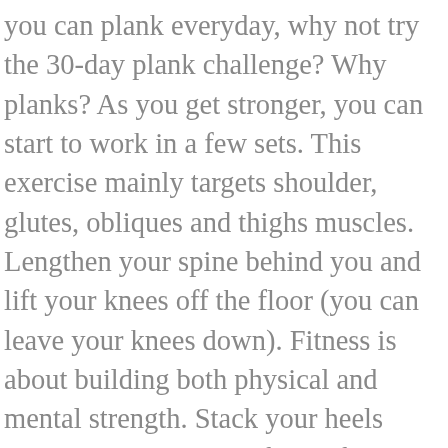you can plank everyday, why not try the 30-day plank challenge? Why planks? As you get stronger, you can start to work in a few sets. This exercise mainly targets shoulder, glutes, obliques and thighs muscles. Lengthen your spine behind you and lift your knees off the floor (you can leave your knees down). Fitness is about building both physical and mental strength. Stack your heels over the ball-mounts of your feet to avoid strain on your toe joints. There are days in the original challenge that jump up 30 seconds and that was just too rough for me and probably for many others too. Think you got what it takes to train like the pros? Doing a quick 10-minute ab workout a few times a week can really help strengthen your core. “You can do planks every day of the week,” Milton says. If you’re new to fitness and would like to start building up your strength, then here are a few reasons why working the plank into your fitness routine will really benefit you: Planks are always thought of as great for your core – and there’s no doubt about it. Plank is a form of bodyweight workout that will never fade away, because it’s so powerful and requires a small